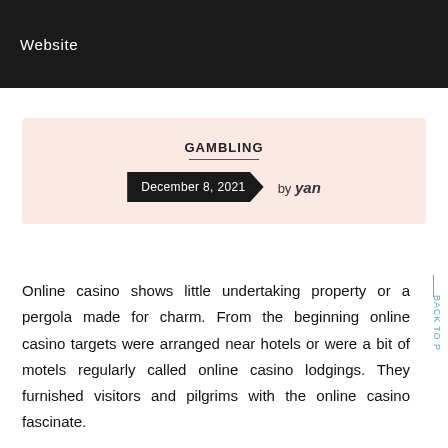Website
GAMBLING
December 8, 2021   by yan
Online casino shows little undertaking property or a pergola made for charm. From the beginning online casino targets were arranged near hotels or were a bit of motels regularly called online casino lodgings. They furnished visitors and pilgrims with the online casino fascinate.